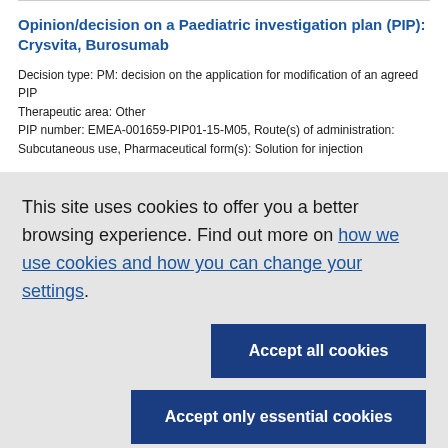Opinion/decision on a Paediatric investigation plan (PIP): Crysvita, Burosumab
Decision type: PM: decision on the application for modification of an agreed PIP
Therapeutic area: Other
PIP number: EMEA-001659-PIP01-15-M05, Route(s) of administration: Subcutaneous use, Pharmaceutical form(s): Solution for injection
This site uses cookies to offer you a better browsing experience. Find out more on how we use cookies and how you can change your settings.
Accept all cookies
Accept only essential cookies